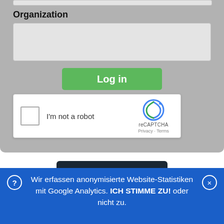Organization
[Figure (screenshot): Form input field for Organization (empty, light gray background)]
[Figure (screenshot): Green 'Log in' button]
[Figure (screenshot): reCAPTCHA widget with checkbox 'I'm not a robot', reCAPTCHA logo, Privacy and Terms links]
[Figure (logo): CleverReach logo on dark background with text 'powered by CleverReach']
Wir erfassen anonymisierte Website-Statistiken mit Google Analytics. ICH STIMME ZU! oder nicht zu.